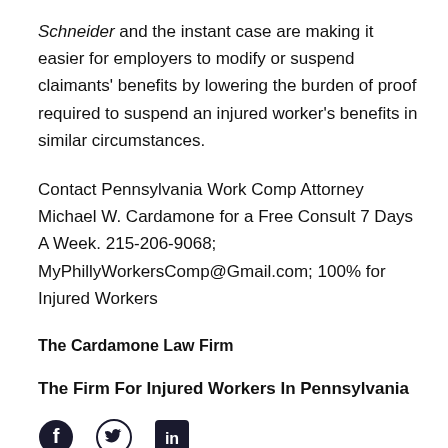Schneider and the instant case are making it easier for employers to modify or suspend claimants' benefits by lowering the burden of proof required to suspend an injured worker's benefits in similar circumstances.
Contact Pennsylvania Work Comp Attorney Michael W. Cardamone for a Free Consult 7 Days A Week. 215-206-9068; MyPhillyWorkersComp@Gmail.com; 100% for Injured Workers
The Cardamone Law Firm
The Firm For Injured Workers In Pennsylvania
[Figure (logo): Social media icons: Facebook (circle with f), Twitter (bird icon), LinkedIn (square with in)]